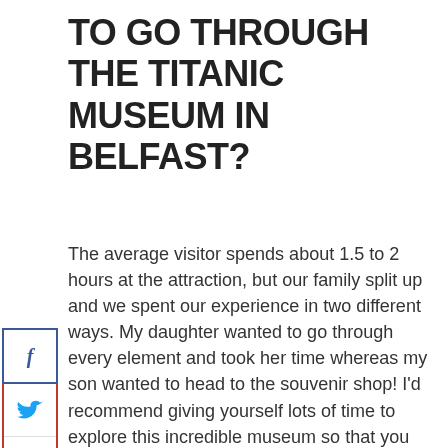TO GO THROUGH THE TITANIC MUSEUM IN BELFAST?
[Figure (infographic): Social share sidebar with Facebook (f), Twitter (bird icon), Pinterest (P), and share count (2) buttons arranged vertically with blue and red borders.]
The average visitor spends about 1.5 to 2 hours at the attraction, but our family split up and we spent our experience in two different ways. My daughter wanted to go through every element and took her time whereas my son wanted to head to the souvenir shop! I'd recommend giving yourself lots of time to explore this incredible museum so that you don't feel rushed and can enjoy your time both inside and outside of the museum. We also suggest you click here to purchase your Titanic Belfast museum tickets in advance, to save yourself time at the entrance. On a nice day, there is a lovely promenade that you can walk along with